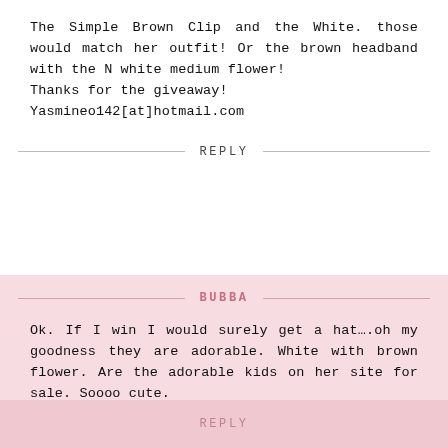The Simple Brown Clip and the White. those would match her outfit! Or the brown headband with the N white medium flower!
Thanks for the giveaway!
Yasmineo142[at]hotmail.com
REPLY
BUBBA
Ok. If I win I would surely get a hat....oh my goodness they are adorable. White with brown flower. Are the adorable kids on her site for sale. Soooo cute.
REPLY